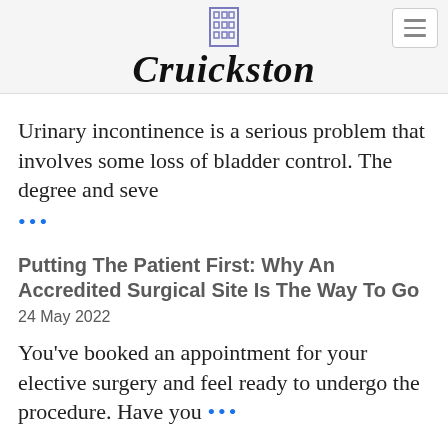Cruickston
Urinary incontinence is a serious problem that involves some loss of bladder control. The degree and seve ...
Putting The Patient First: Why An Accredited Surgical Site Is The Way To Go  24 May 2022
You've booked an appointment for your elective surgery and feel ready to undergo the procedure. Have you ...
How Physical Therapy Can Help